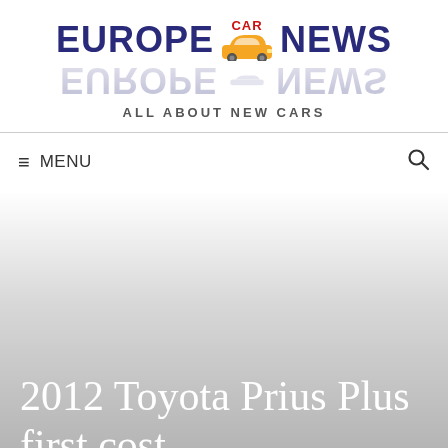[Figure (logo): Europe Car News logo with orange car icon, blue text 'EUROPE' and 'NEWS', red 'CAR' text above car icon, reflection below, tagline 'ALL ABOUT NEW CARS']
≡ MENU
2012 Toyota Prius Plus first cost